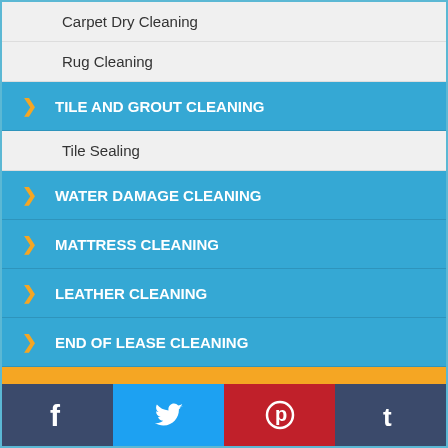Carpet Dry Cleaning
Rug Cleaning
TILE AND GROUT CLEANING
Tile Sealing
WATER DAMAGE CLEANING
MATTRESS CLEANING
LEATHER CLEANING
END OF LEASE CLEANING
Service Area
Abbotsford
Aberfeldie